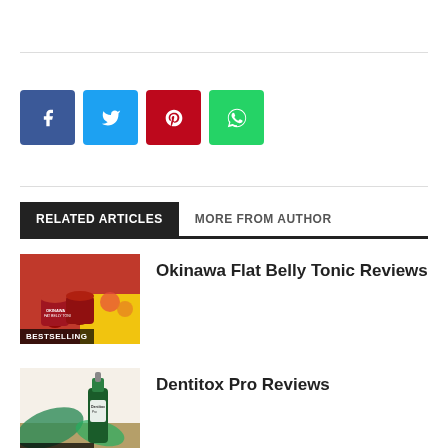[Figure (infographic): Social share buttons: Facebook (blue), Twitter (light blue), Pinterest (red), WhatsApp (green)]
RELATED ARTICLES   MORE FROM AUTHOR
[Figure (photo): Okinawa Flat Belly Tonic product image with BESTSELLING badge]
Okinawa Flat Belly Tonic Reviews
[Figure (photo): Dentitox Pro product image with BESTSELLING badge]
Dentitox Pro Reviews